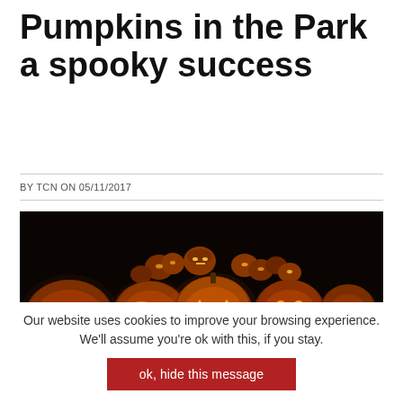Pumpkins in the Park a spooky success
BY TCN ON 05/11/2017
[Figure (photo): A group of carved and illuminated jack-o-lanterns glowing in the dark with various spooky faces and designs.]
Our website uses cookies to improve your browsing experience. We'll assume you're ok with this, if you stay.
ok, hide this message